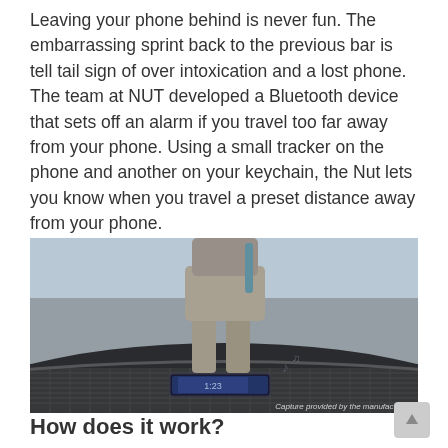Leaving your phone behind is never fun. The embarrassing sprint back to the previous bar is tell tail sign of over intoxication and a lost phone. The team at NUT developed a Bluetooth device that sets off an alarm if you travel too far away from your phone. Using a small tracker on the phone and another on your keychain, the Nut lets you know when you travel a preset distance away from your phone.
[Figure (photo): Outdoor photo showing a person walking away from a metal mesh table surface, with a smartphone left behind on the table emitting sound/music notes, suggesting the phone has been forgotten.]
Capture provided by the manufacturer
How does it work?